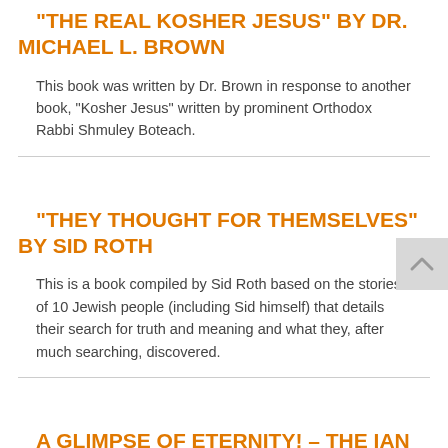"THE REAL KOSHER JESUS" BY DR. MICHAEL L. BROWN
This book was written by Dr. Brown in response to another book, “Kosher Jesus” written by prominent Orthodox Rabbi Shmuley Boteach.
“THEY THOUGHT FOR THEMSELVES” BY SID ROTH
This is a book compiled by Sid Roth based on the stories of 10 Jewish people (including Sid himself) that details their search for truth and meaning and what they, after much searching, discovered.
A GLIMPSE OF ETERNITY! – THE IAN